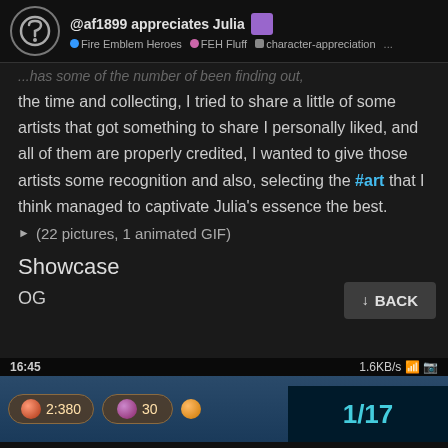@af1899 appreciates Julia | Fire Emblem Heroes | FEH Fluff | character-appreciation ...
the time and collecting, I tried to share a little of some artists that got something to share I personally liked, and all of them are properly credited, I wanted to give those artists some recognition and also, selecting the #art that I think managed to captivate Julia's essence the best.
► (22 pictures, 1 animated GIF)
Showcase
OG
[Figure (screenshot): Mobile game screenshot showing status bar with time 16:45 and 1.6KB/s, and game UI with items showing 2:380 and 30, followed by page counter 1/17]